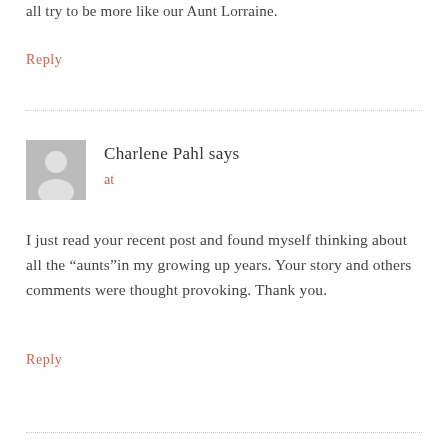all try to be more like our Aunt Lorraine.
Reply
Charlene Pahl says
at
I just read your recent post and found myself thinking about all the “aunts”in my growing up years. Your story and others comments were thought provoking. Thank you.
Reply